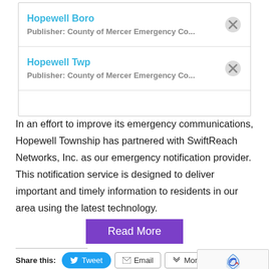[Figure (screenshot): Screenshot of a subscription list UI showing two items: 'Hopewell Boro' and 'Hopewell Twp', each with publisher 'County of Mercer Emergency Co...' and an X button to remove]
In an effort to improve its emergency communications, Hopewell Township has partnered with SwiftReach Networks, Inc. as our emergency notification provider. This notification service is designed to deliver important and timely information to residents in our area using the latest technology.
Read More
Share this:
Tweet
Email
More